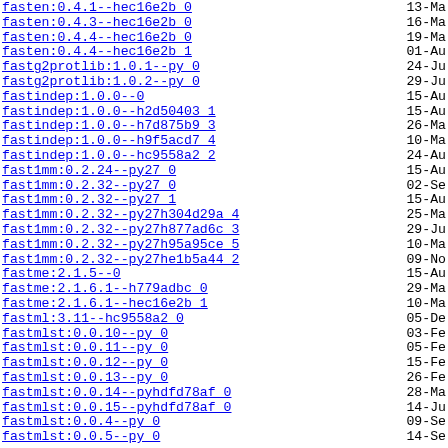fasten:0.4.1--hec16e2b 0	13-Ma
fasten:0.4.3--hec16e2b 0	16-Ma
fasten:0.4.4--hec16e2b 0	19-Ma
fasten:0.4.4--hec16e2b 1	01-Au
fastg2protlib:1.0.1--py 0	24-Ju
fastg2protlib:1.0.2--py 0	29-Ju
fastindep:1.0.0--0	15-Au
fastindep:1.0.0--h2d50403 1	15-Au
fastindep:1.0.0--h7d875b9 3	26-Ma
fastindep:1.0.0--h9f5acd7 4	10-Ma
fastindep:1.0.0--hc9558a2 2	24-Au
fast1mm:0.2.24--py27 0	15-Au
fast1mm:0.2.32--py27 0	02-Se
fast1mm:0.2.32--py27 1	15-Au
fast1mm:0.2.32--py27h304d29a 4	25-Ma
fast1mm:0.2.32--py27h877ad6c 3	29-Ju
fast1mm:0.2.32--py27h95a95ce 5	10-Ma
fast1mm:0.2.32--py27he1b5a44 2	09-No
fastme:2.1.5--0	15-Au
fastme:2.1.6.1--h779adbc 0	29-Ma
fastme:2.1.6.1--hec16e2b 1	10-Ma
fastml:3.11--hc9558a2 0	05-De
fastmlst:0.0.10--py 0	03-Fe
fastmlst:0.0.11--py 0	05-Fe
fastmlst:0.0.12--py 0	15-Fe
fastmlst:0.0.13--py 0	26-Fe
fastmlst:0.0.14--pyhdfd78af 0	28-Ma
fastmlst:0.0.15--pyhdfd78af 0	14-Ju
fastmlst:0.0.4--py 0	09-Se
fastmlst:0.0.5--py 0	14-Se